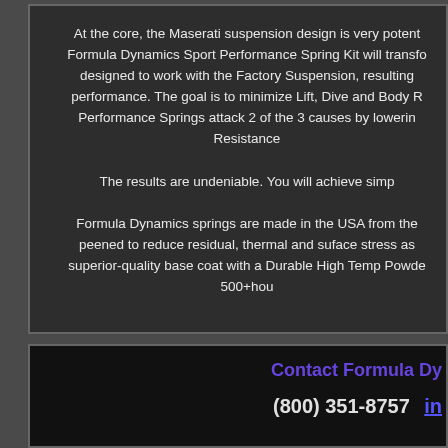At the core, the Maserati suspension design is very potent... Formula Dynamics Sport Performance Spring Kit will transfo... designed to work with the Factory Suspension, resulting... performance. The goal is to minimize Lift, Dive and Body R... Performance Springs attack 2 of the 3 causes by lowerin... Resistance...
The results are undeniable. You will achieve simp...
Formula Dynamics springs are made in the USA from the ... peened to reduce residual, thermal and suface stress as... superior-quality base coat with a Durable High Temp Powde... 500+hou...
Contact Formula Dy...
(800) 351-8757  in...
We accept Visa, Mastercard, PayPal via (paypal@formuladynamics.co... call (800) 351-8757 to discuss payment options and arrange for shipping.